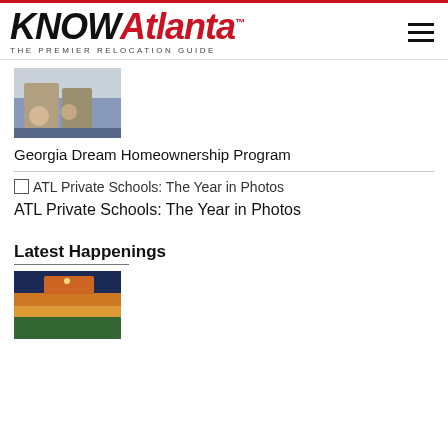[Figure (logo): KNOWAtlanta - The Premier Relocation Guide logo with red and black text]
[Figure (photo): Photo of people sitting on floor with moving boxes in a room]
Georgia Dream Homeownership Program
ATL Private Schools: The Year in Photos
ATL Private Schools: The Year in Photos
Latest Happenings
[Figure (photo): Aerial dusk/sunset photo of city skyline and suburban area]